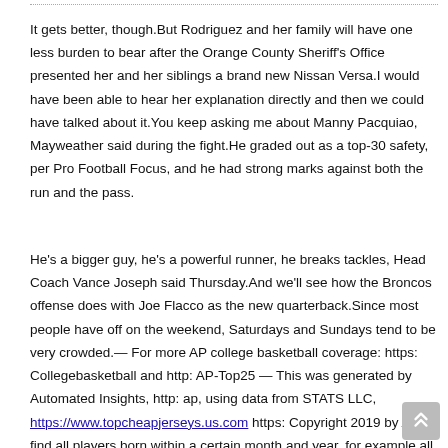It gets better, though.But Rodriguez and her family will have one less burden to bear after the Orange County Sheriff's Office presented her and her siblings a brand new Nissan Versa.I would have been able to hear her explanation directly and then we could have talked about it.You keep asking me about Manny Pacquiao, Mayweather said during the fight.He graded out as a top-30 safety, per Pro Football Focus, and he had strong marks against both the run and the pass.
He's a bigger guy, he's a powerful runner, he breaks tackles, Head Coach Vance Joseph said Thursday.And we'll see how the Broncos offense does with Joe Flacco as the new quarterback.Since most people have off on the weekend, Saturdays and Sundays tend to be very crowded.— For more AP college basketball coverage: https: Collegebasketball and http: AP-Top25 — This was generated by Automated Insights, http: ap, using data from STATS LLC, https://www.topcheapjerseys.us.com https: Copyright 2019 by AP.To find all players born within a certain month and year, for example all players born in December of 1985, choose the month and year with the drop down at the top of the page, then click the 'Moon Search' button.